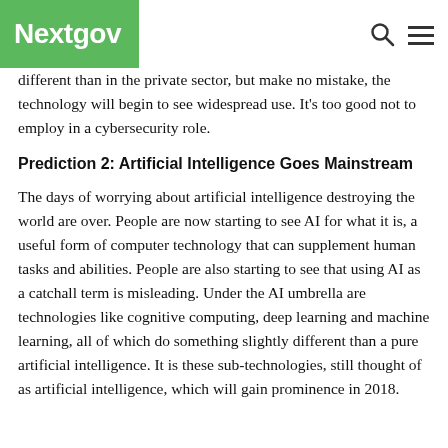Nextgov
different than in the private sector, but make no mistake, the technology will begin to see widespread use. It’s too good not to employ in a cybersecurity role.
Prediction 2: Artificial Intelligence Goes Mainstream
The days of worrying about artificial intelligence destroying the world are over. People are now starting to see AI for what it is, a useful form of computer technology that can supplement human tasks and abilities. People are also starting to see that using AI as a catchall term is misleading. Under the AI umbrella are technologies like cognitive computing, deep learning and machine learning, all of which do something slightly different than a pure artificial intelligence. It is these sub-technologies, still thought of as artificial intelligence, which will gain prominence in 2018.